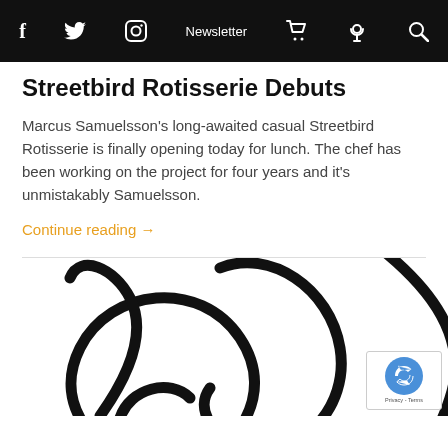f  [twitter]  [instagram]  Newsletter  [cart]  [podcast]  [search]
Streetbird Rotisserie Debuts
Marcus Samuelsson's long-awaited casual Streetbird Rotisserie is finally opening today for lunch. The chef has been working on the project for four years and it's unmistakably Samuelsson.
Continue reading →
[Figure (illustration): Black curved abstract line art illustration, partially visible, showing large sweeping curves on white background. A reCAPTCHA badge is overlaid in the bottom right corner.]